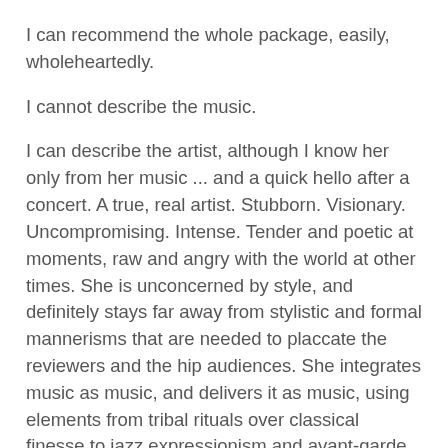I can recommend the whole package, easily, wholeheartedly.
I cannot describe the music.
I can describe the artist, although I know her only from her music ... and a quick hello after a concert. A true, real artist. Stubborn. Visionary. Uncompromising. Intense. Tender and poetic at moments, raw and angry with the world at other times. She is unconcerned by style, and definitely stays far away from stylistic and formal mannerisms that are needed to placcate the reviewers and the hip audiences. She integrates music as music, and delivers it as music, using elements from tribal rituals over classical finesse to jazz expressionism and avant-garde search for new approaches, yet turning it all into something else, something more authentic, more innovative and - interestingly enough - also more universal.
She cares about the interaction with other musicians who have a story to tell, whom she can learn from, who can lift her up to a different level, on new journeys, open to musical